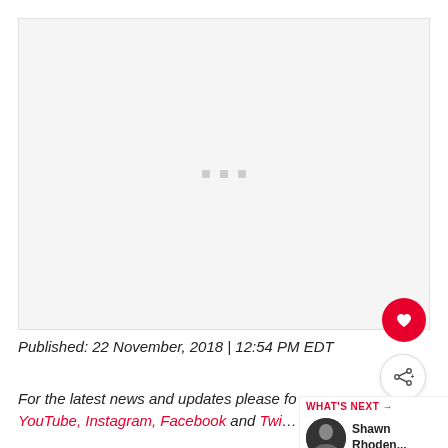[Figure (other): Large mostly white/blank image area with three small grey square dots centered, representing a loading or placeholder media embed]
Published: 22 November, 2018 | 12:54 PM EDT
For the latest news and updates please follow YouTube, Instagram, Facebook and Twit…